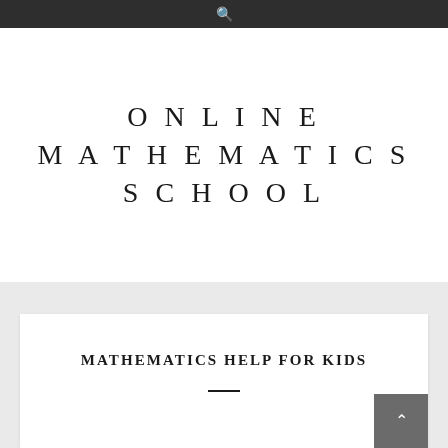ONLINE MATHEMATICS SCHOOL
MATHEMATICS HELP FOR KIDS